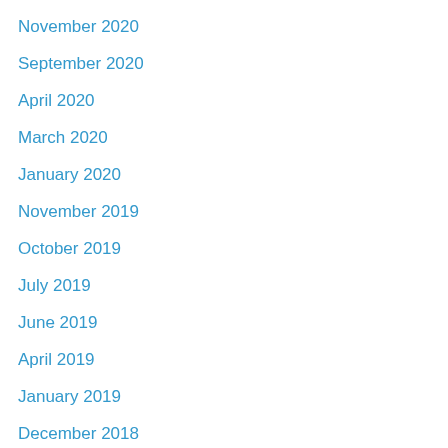November 2020
September 2020
April 2020
March 2020
January 2020
November 2019
October 2019
July 2019
June 2019
April 2019
January 2019
December 2018
August 2018
July 2018
June 2018
May 2018
April 2018
March 2018
September 2016
July 2016